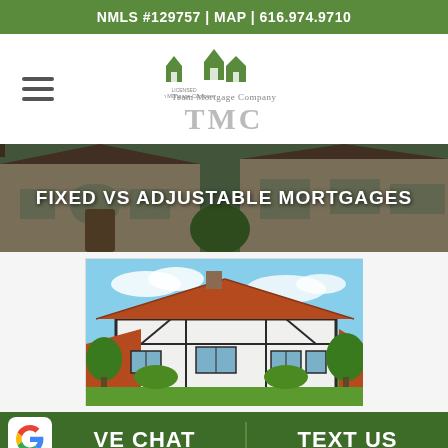NMLS #129757 | MAP | 616.974.9710
[Figure (logo): Team Mortgage Company TMC logo with green house icons and text]
FIXED VS ADJUSTABLE MORTGAGES
[Figure (photo): Tudor-style house with red roof, white and dark timber facade, blue sky background]
LIVE CHAT
TEXT US